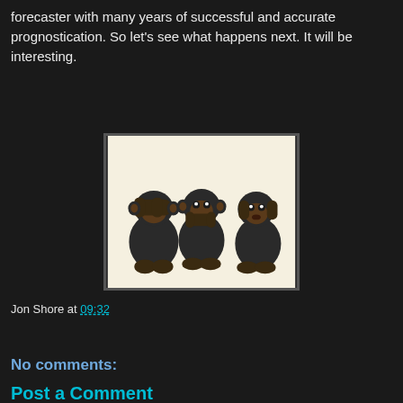forecaster with many years of successful and accurate prognostication. So let's see what happens next. It will be interesting.
[Figure (photo): Three wise monkeys figurines (see no evil, hear no evil, speak no evil) sitting against a light beige background]
Jon Shore at 09:32
Share
No comments:
Post a Comment